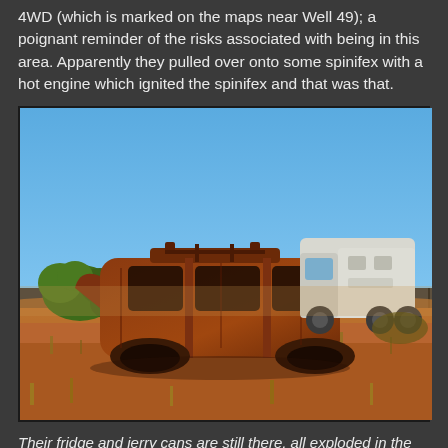4WD (which is marked on the maps near Well 49); a poignant reminder of the risks associated with being in this area. Apparently they pulled over onto some spinifex with a hot engine which ignited the spinifex and that was that.
[Figure (photo): A burnt-out rusted 4WD vehicle carcass sitting in red desert scrubland, with a white expedition truck/bus visible in the background under a clear blue sky.]
Their fridge and jerry cans are still there, all exploded in the